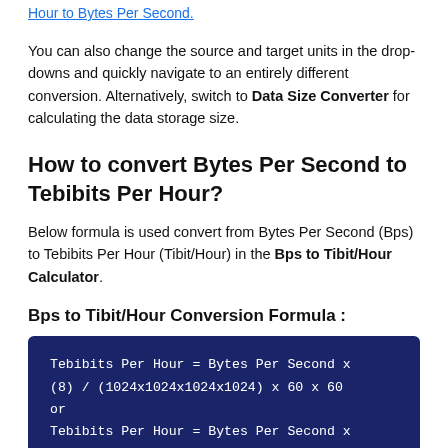Hour to Bytes Per Second.
You can also change the source and target units in the drop-downs and quickly navigate to an entirely different conversion. Alternatively, switch to Data Size Converter for calculating the data storage size.
How to convert Bytes Per Second to Tebibits Per Hour?
Below formula is used convert from Bytes Per Second (Bps) to Tebibits Per Hour (Tibit/Hour) in the Bps to Tibit/Hour Calculator.
Bps to Tibit/Hour Conversion Formula :